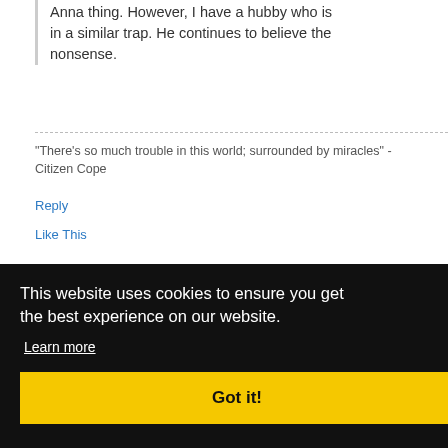Anna thing. However, I have a hubby who is in a similar trap. He continues to believe the nonsense.
"There's so much trouble in this world; surrounded by miracles" - Citizen Cope
Reply
Like This
This website uses cookies to ensure you get the best experience on our website. Learn more
Got it!
:56AM
p in a fork